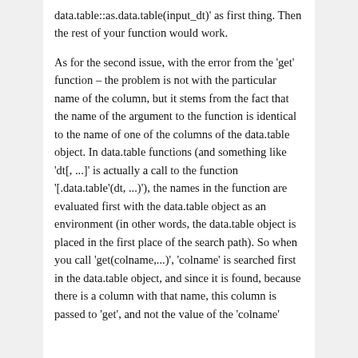data.table::as.data.table(input_dt)' as first thing. Then the rest of your function would work.
As for the second issue, with the error from the 'get' function – the problem is not with the particular name of the column, but it stems from the fact that the name of the argument to the function is identical to the name of one of the columns of the data.table object. In data.table functions (and something like 'dt[, ...]' is actually a call to the function '[.data.table'(dt, ...)'), the names in the function are evaluated first with the data.table object as an environment (in other words, the data.table object is placed in the first place of the search path). So when you call 'get(colname,...)', 'colname' is searched first in the data.table object, and since it is found, because there is a column with that name, this column is passed to 'get', and not the value of the 'colname' argument of the function. This is a known